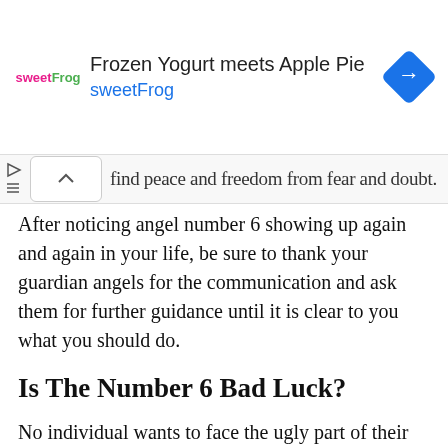[Figure (other): Advertisement banner for sweetFrog showing logo, text 'Frozen Yogurt meets Apple Pie / sweetFrog', and a blue diamond navigation icon on the right.]
find peace and freedom from fear and doubt.
After noticing angel number 6 showing up again and again in your life, be sure to thank your guardian angels for the communication and ask them for further guidance until it is clear to you what you should do.
Is The Number 6 Bad Luck?
No individual wants to face the ugly part of their life. When angel number 6 starts to appear, it means that you need to check into your life and reconcile your thoughts and plans. To do that, you must focus more on that part of your life you are often overlooking.